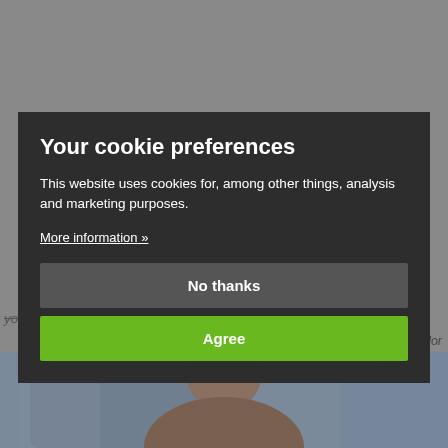Your cookie preferences
This website uses cookies for, among other things, analysis and marketing purposes.
More information »
No thanks
Agree
you've always wanted.
Wouter Twisk - CEO Webador
[Figure (photo): Partial view of a person, blurred background, bottom portion of the page]